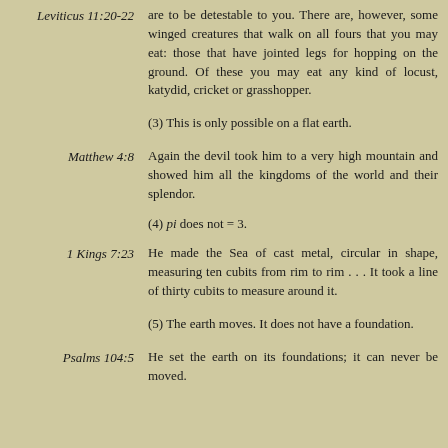Leviticus 11:20-22 — are to be detestable to you. There are, however, some winged creatures that walk on all fours that you may eat: those that have jointed legs for hopping on the ground. Of these you may eat any kind of locust, katydid, cricket or grasshopper.
(3) This is only possible on a flat earth.
Matthew 4:8 — Again the devil took him to a very high mountain and showed him all the kingdoms of the world and their splendor.
(4) pi does not = 3.
1 Kings 7:23 — He made the Sea of cast metal, circular in shape, measuring ten cubits from rim to rim . . . It took a line of thirty cubits to measure around it.
(5) The earth moves. It does not have a foundation.
Psalms 104:5 — He set the earth on its foundations; it can never be moved.